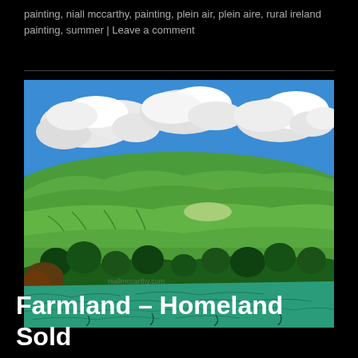painting, niall mccarthy, painting, plein air, plein aire, rural ireland painting, summer | Leave a comment
[Figure (illustration): A plein air oil painting of Irish farmland. Rolling green fields with tillage rows, hedgerows with trees in the middle ground, bright blue sky with white cumulus clouds, and a foreground of teal-green crop field. The landscape is vibrant with multiple shades of green.]
Farmland – Homeland Sold